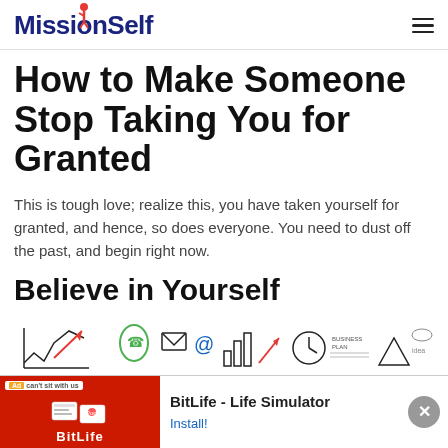MissionSelf
How to Make Someone Stop Taking You for Granted
This is tough love; realize this, you have taken yourself for granted, and hence, so does everyone. You need to dust off the past, and begin right now.
Believe in Yourself
[Figure (illustration): A horizontal strip of hand-drawn doodle-style icons including graphs, telephone, email, at-sign, charts, business plan, compass, clock, and other business/productivity related sketches]
[Figure (screenshot): Advertisement bar at the bottom showing BitLife Life Simulator app ad with red background on left containing app screenshots and Ad badge, and BitLife title with Install button on right]